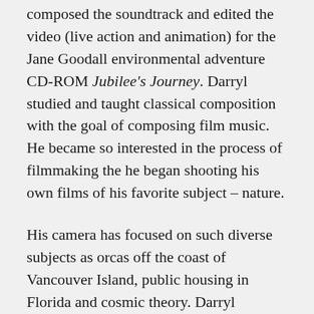composed the soundtrack and edited the video (live action and animation) for the Jane Goodall environmental adventure CD-ROM Jubilee's Journey. Darryl studied and taught classical composition with the goal of composing film music. He became so interested in the process of filmmaking the he began shooting his own films of his favorite subject – nature.
His camera has focused on such diverse subjects as orcas off the coast of Vancouver Island, public housing in Florida and cosmic theory. Darryl documented a botanical expedition in the cloud forest of Venezuela, produced the CD-ROM Tales Of Titans – The